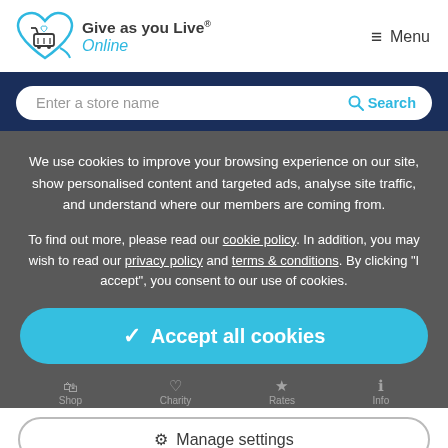Give as you Live Online — Menu
Enter a store name   Search
We use cookies to improve your browsing experience on our site, show personalised content and targeted ads, analyse site traffic, and understand where our members are coming from.
To find out more, please read our cookie policy. In addition, you may wish to read our privacy policy and terms & conditions. By clicking "I accept", you consent to our use of cookies.
✓ Accept all cookies
⚙ Manage settings